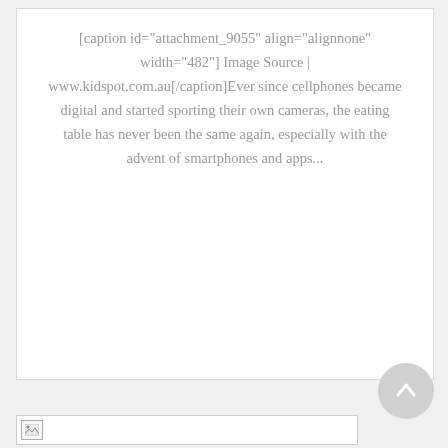[caption id="attachment_9055" align="alignnone" width="482"] Image Source | www.kidspot.com.au[/caption]Ever since cellphones became digital and started sporting their own cameras, the eating table has never been the same again, especially with the advent of smartphones and apps...
[Figure (other): Back to top arrow button - circular grey button with upward arrow]
[Figure (other): Broken image placeholder bar]